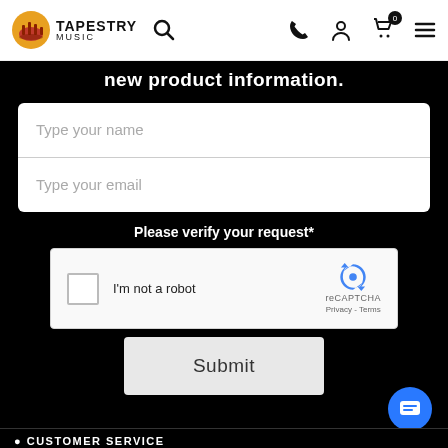Tapestry Music
new product information.
Type your name
Type your email
Please verify your request*
I'm not a robot
reCAPTCHA
Privacy - Terms
Submit
CUSTOMER SERVICE